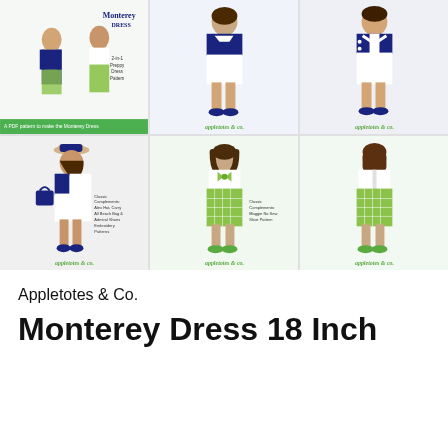[Figure (photo): 6-panel photo grid showing an 18-inch doll wearing the Monterey Dress pattern in navy/white and green plaid versions, from appletotes & co.]
Appletotes & Co.
Monterey Dress 18 Inch